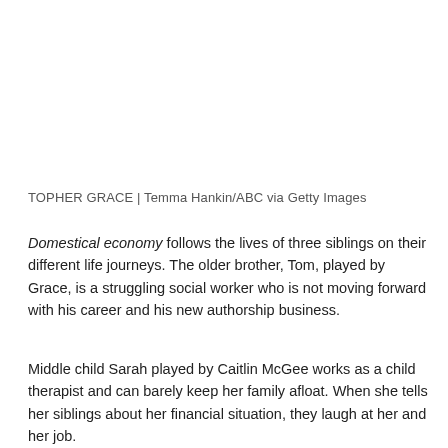TOPHER GRACE | Temma Hankin/ABC via Getty Images
Domestical economy follows the lives of three siblings on their different life journeys. The older brother, Tom, played by Grace, is a struggling social worker who is not moving forward with his career and his new authorship business.
Middle child Sarah played by Caitlin McGee works as a child therapist and can barely keep her family afloat. When she tells her siblings about her financial situation, they laugh at her and her job.